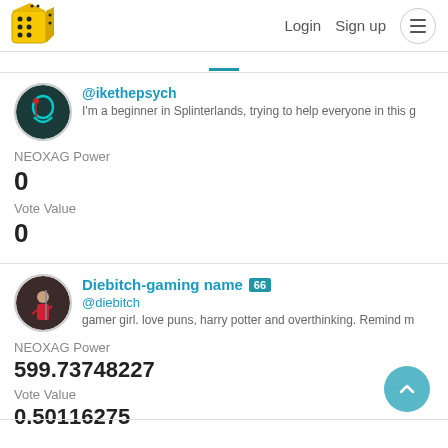Login  Sign up
@ikethepsych
I'm a beginner in Splinterlands, trying to help everyone in this g
NEOXAG Power
0
Vote Value
0
Diebitch-gaming name 66
@diebitch
gamer girl. love puns, harry potter and overthinking. Remind m
NEOXAG Power
599.73748227
Vote Value
0.50116275